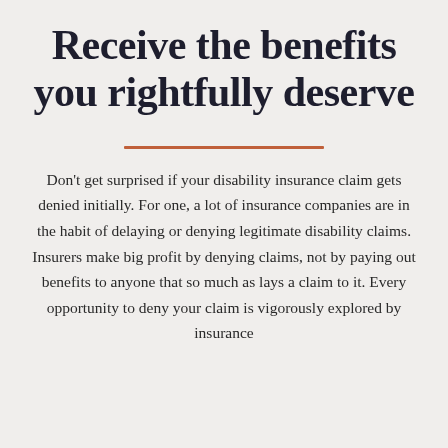Receive the benefits you rightfully deserve
Don't get surprised if your disability insurance claim gets denied initially. For one, a lot of insurance companies are in the habit of delaying or denying legitimate disability claims. Insurers make big profit by denying claims, not by paying out benefits to anyone that so much as lays a claim to it. Every opportunity to deny your claim is vigorously explored by insurance